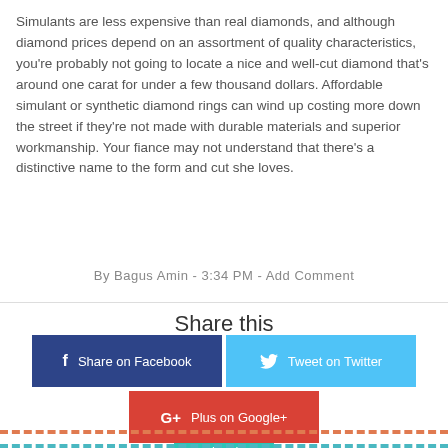Simulants are less expensive than real diamonds, and although diamond prices depend on an assortment of quality characteristics, you're probably not going to locate a nice and well-cut diamond that's around one carat for under a few thousand dollars. Affordable simulant or synthetic diamond rings can wind up costing more down the street if they're not made with durable materials and superior workmanship. Your fiance may not understand that there's a distinctive name to the form and cut she loves.
what is
By Bagus Amin - 3:34 PM - Add Comment
Share this
Share on Facebook
Tweet on Twitter
Plus on Google+